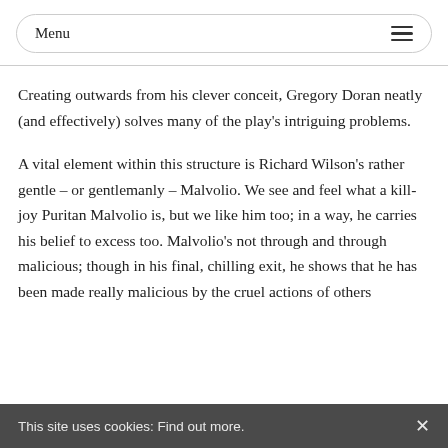Menu
Creating outwards from his clever conceit, Gregory Doran neatly (and effectively) solves many of the play's intriguing problems.
A vital element within this structure is Richard Wilson's rather gentle – or gentlemanly – Malvolio. We see and feel what a kill-joy Puritan Malvolio is, but we like him too; in a way, he carries his belief to excess too. Malvolio's not through and through malicious; though in his final, chilling exit, he shows that he has been made really malicious by the cruel actions of others
This site uses cookies: Find out more.